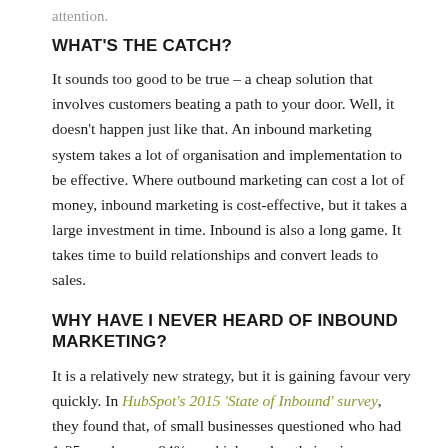attention.
WHAT'S THE CATCH?
It sounds too good to be true – a cheap solution that involves customers beating a path to your door. Well, it doesn't happen just like that. An inbound marketing system takes a lot of organisation and implementation to be effective. Where outbound marketing can cost a lot of money, inbound marketing is cost-effective, but it takes a large investment in time. Inbound is also a long game. It takes time to build relationships and convert leads to sales.
WHY HAVE I NEVER HEARD OF INBOUND MARKETING?
It is a relatively new strategy, but it is gaining favour very quickly. In HubSpot's 2015 'State of Inbound' survey, they found that, of small businesses questioned who had 1-25 employees, 84% used inbound as their primary marketing